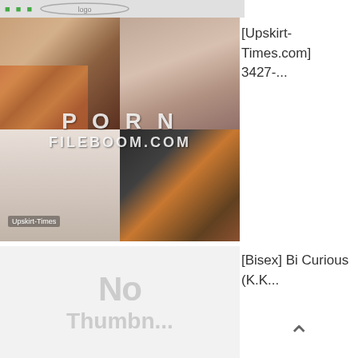[Figure (photo): Partial logo/header strip at top of page]
[Figure (photo): Collage of four thumbnail images with PORNFILEBOOM.COM watermark overlay]
[Upskirt-Times.com] 3427-...
[Figure (photo): Light gray placeholder thumbnail showing 'No Thumbnail' text]
[Bisex] Bi Curious (K.K...